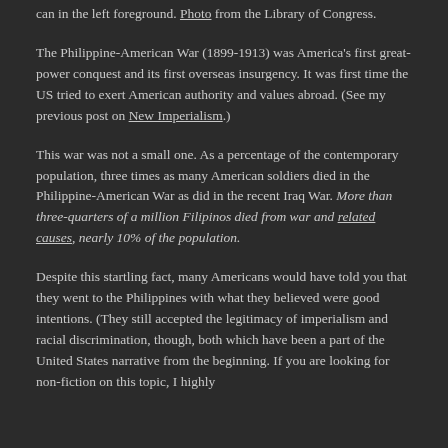can in the left foreground. Photo from the Library of Congress.
The Philippine-American War (1899-1913) was America's first great-power conquest and its first overseas insurgency. It was first time the US tried to exert American authority and values abroad. (See my previous post on New Imperialism.)
This war was not a small one. As a percentage of the contemporary population, three times as many American soldiers died in the Philippine-American War as did in the recent Iraq War. More than three-quarters of a million Filipinos died from war and related causes, nearly 10% of the population.
Despite this startling fact, many Americans would have told you that they went to the Philippines with what they believed were good intentions. (They still accepted the legitimacy of imperialism and racial discrimination, though, both which have been a part of the United States narrative from the beginning. If you are looking for non-fiction on this topic, I highly